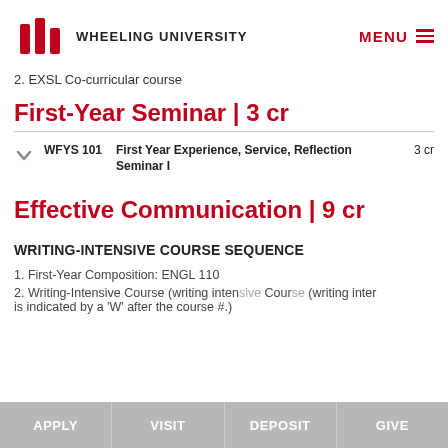WHEELING UNIVERSITY | MENU
2. EXSL Co-curricular course
First-Year Seminar | 3 cr
|  | Code | Course Name | Credits |
| --- | --- | --- | --- |
| ▾ | WFYS 101 | First Year Experience, Service, Reflection Seminar I | 3 cr |
Effective Communication | 9 cr
WRITING-INTENSIVE COURSE SEQUENCE
1. First-Year Composition: ENGL 110
2. Writing-Intensive Course (writing intensive interest is indicated by a 'W' after the course #.)